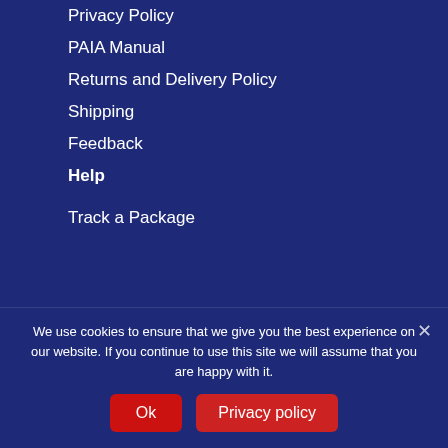Privacy Policy
PAIA Manual
Returns and Delivery Policy
Shipping
Feedback
Help
Track a Package
Sign up for our newsletter
Email Address
SUBSCRIBE
We use cookies to ensure that we give you the best experience on our website. If you continue to use this site we will assume that you are happy with it.
Ok
Privacy policy